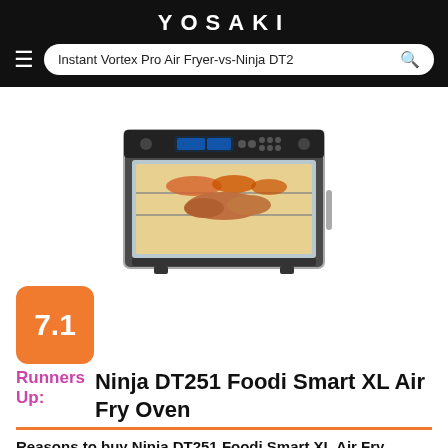YOSAKI
Instant Vortex Pro Air Fryer-vs-Ninja DT2
[Figure (photo): Photo of Ninja DT251 Foodi Smart XL Air Fry Oven, a stainless steel countertop oven with glass door showing food inside including chicken and vegetables on multiple racks.]
7.1
Runners Up:
Ninja DT251 Foodi Smart XL Air Fry Oven
Reasons to buy Ninja DT251 Foodi Smart XL Air Fry Oven :